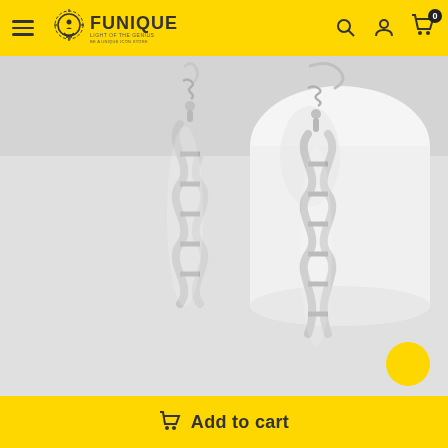Funique - Light of the Genius
[Figure (photo): Silver DNA double helix drop earrings on a white background, showing two spiral-shaped metallic earrings with fish-hook clasps.]
Add to cart